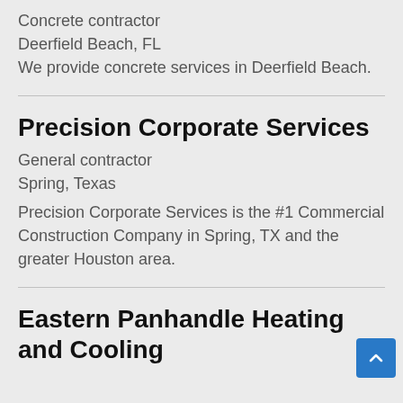Concrete contractor
Deerfield Beach, FL
We provide concrete services in Deerfield Beach.
Precision Corporate Services
General contractor
Spring, Texas
Precision Corporate Services is the #1 Commercial Construction Company in Spring, TX and the greater Houston area.
Eastern Panhandle Heating and Cooling